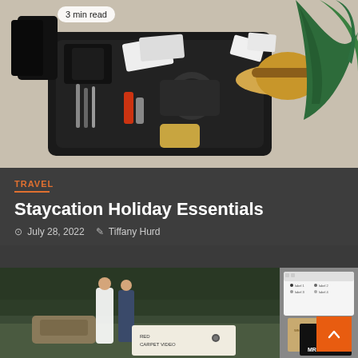[Figure (photo): Overhead view of an open suitcase with travel items: hat, camera, clothing, accessories, and tropical leaves on a light background. Badge reads '3 min read'.]
3 min read
TRAVEL
Staycation Holiday Essentials
July 28, 2022   Tiffany Hurd
[Figure (photo): Wedding photo collage showing a bride and groom outdoors and wedding video/photo materials including a Red Carpet Video product. Badge reads '2 min read'.]
2 min read